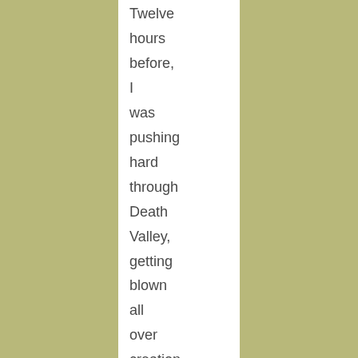Twelve hours before, I was pushing hard through Death Valley, getting blown all over creation. Twelve hours before, I had all but